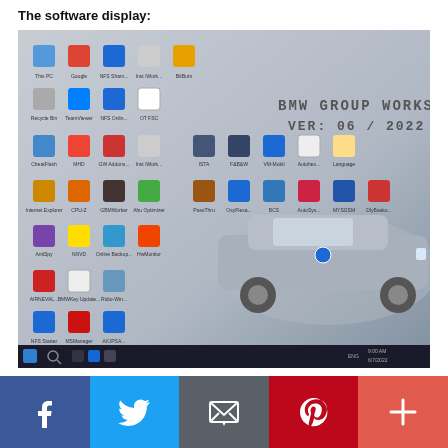The software display:
[Figure (screenshot): BMW Group Workshop software desktop screenshot showing Windows desktop with multiple BMW diagnostic software icons (ISTA, WinKFP, INPA, NFS, etc.), BMW M3 car image in background, text 'BMW GROUP WORKSHOP VER: 06 / 2022', Windows 10 taskbar at bottom.]
[Figure (infographic): Social media share buttons bar: Facebook (blue), Twitter (light blue), Email (gray), Pinterest (red), Plus/more (coral red)]